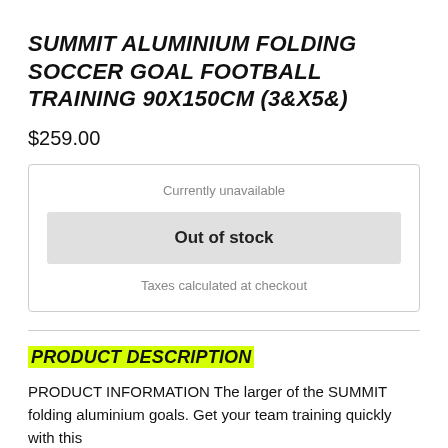SUMMIT ALUMINIUM FOLDING SOCCER GOAL FOOTBALL TRAINING 90X150CM (3&X5&)
$259.00
Currently unavailable
Out of stock
Taxes calculated at checkout
PRODUCT DESCRIPTION
PRODUCT INFORMATION The larger of the SUMMIT folding aluminium goals. Get your team training quickly with this